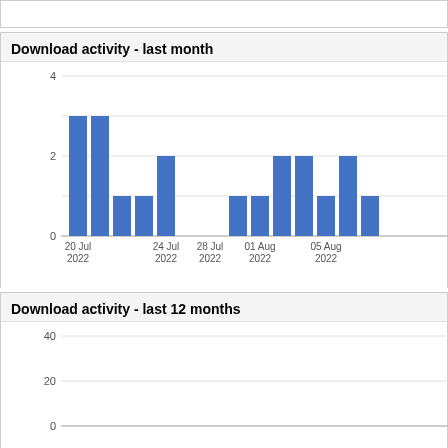Download activity - last month
[Figure (bar-chart): Download activity - last month]
Download activity - last 12 months
[Figure (bar-chart): Download activity - last 12 months]